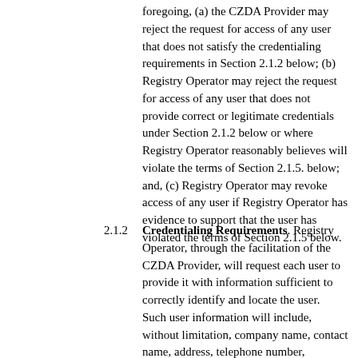foregoing, (a) the CZDA Provider may reject the request for access of any user that does not satisfy the credentialing requirements in Section 2.1.2 below; (b) Registry Operator may reject the request for access of any user that does not provide correct or legitimate credentials under Section 2.1.2 below or where Registry Operator reasonably believes will violate the terms of Section 2.1.5. below; and, (c) Registry Operator may revoke access of any user if Registry Operator has evidence to support that the user has violated the terms of Section 2.1.5 below.
2.1.2 Credentialing Requirements. Registry Operator, through the facilitation of the CZDA Provider, will request each user to provide it with information sufficient to correctly identify and locate the user. Such user information will include, without limitation, company name, contact name, address, telephone number, facsimile number, email address and IP address.